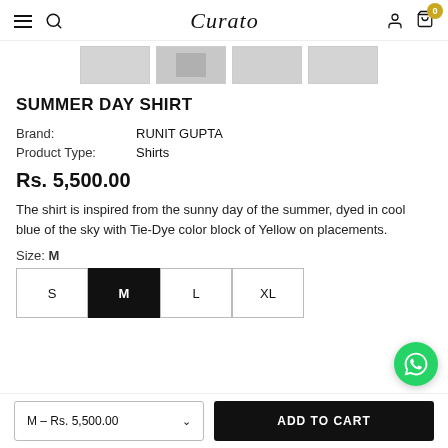Curato — navigation header with hamburger, search, user, cart (0)
[Figure (screenshot): Four product thumbnail images in a row]
SUMMER DAY SHIRT
| Brand: | RUNIT GUPTA |
| Product Type: | Shirts |
Rs. 5,500.00
The shirt is inspired from the sunny day of the summer, dyed in cool blue of the sky with Tie-Dye color block of Yellow on placements.
Size: M
S  M  L  XL
M – Rs. 5,500.00   ADD TO CART